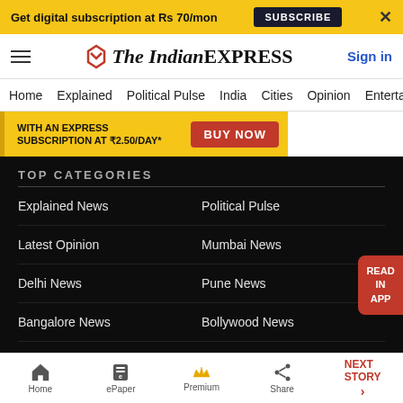Get digital subscription at Rs 70/mon  SUBSCRIBE  X
The Indian EXPRESS  Sign in
Home  Explained  Political Pulse  India  Cities  Opinion  Entertainment
[Figure (infographic): Yellow promotional banner: WITH AN EXPRESS SUBSCRIPTION AT ₹2.50/DAY* BUY NOW]
TOP CATEGORIES
Explained News
Political Pulse
Latest Opinion
Mumbai News
Delhi News
Pune News
Bangalore News
Bollywood News
Health News
India News
Sports News
Lifestyle News
Home  ePaper  Premium  Share  NEXT STORY